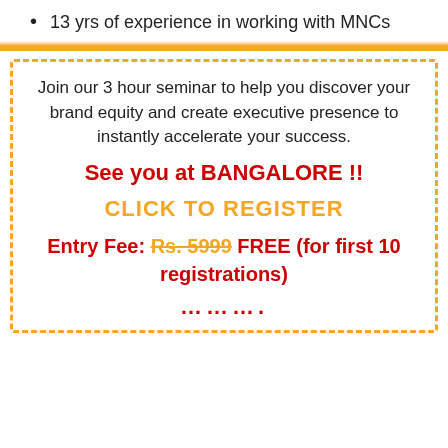13 yrs of experience in working with MNCs
Join our 3 hour seminar to help you discover your brand equity and create executive presence to instantly accelerate your success.
See you at BANGALORE !!
CLICK TO REGISTER
Entry Fee: Rs. 5999 FREE (for first 10 registrations)
..........